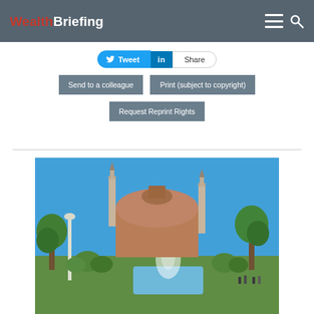WealthBriefing
Tweet
Share
Send to a colleague
Print (subject to copyright)
Request Reprint Rights
[Figure (photo): Hagia Sophia mosque in Istanbul, Turkey, with minarets, blue sky, fountains, and green trees in the foreground]